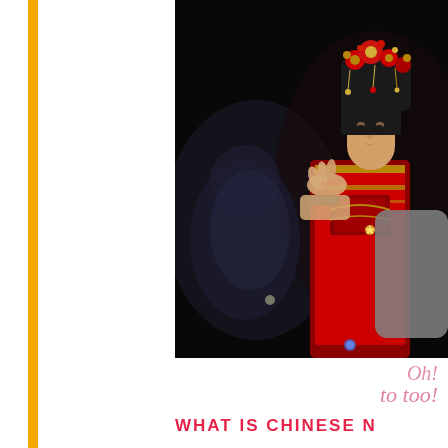[Figure (photo): A young Asian girl dressed in a traditional Chinese red and gold ceremonial costume with an ornate headdress/crown with flowers and decorations. An adult hand is visible adjusting the costume behind her. The background is very dark/black with another blurred figure visible. There is a gray rounded rectangle badge on the right side with 'FACEBOOK' written vertically in white bold letters.]
Oh!
to too!
WHAT IS CHINESE N